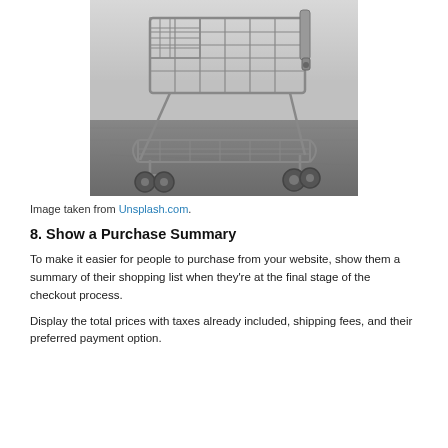[Figure (photo): Black and white photograph of an empty shopping cart on a pavement/parking lot surface, viewed from a low angle. The cart is metal wire, tilted slightly, with wheels visible at the bottom.]
Image taken from Unsplash.com.
8. Show a Purchase Summary
To make it easier for people to purchase from your website, show them a summary of their shopping list when they're at the final stage of the checkout process.
Display the total prices with taxes already included, shipping fees, and their preferred payment option.